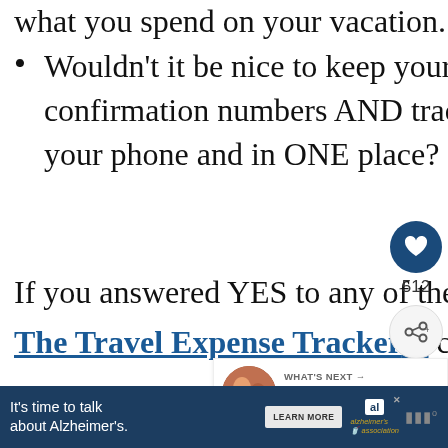what you spend on your vacation.
Wouldn't it be nice to keep your travel plans and confirmation numbers AND track your spending all on your phone and in ONE place?
If you answered YES to any of these questions, then The Travel Expense Tracker™ can help you.
Gain control of your travel budget so you can travel more NOW and in the future!
[Figure (infographic): Heart/like button with count 512 and share button sidebar UI]
[Figure (infographic): What's Next promo box: Best Places To Travel In...]
[Figure (infographic): Advertisement banner: It's time to talk about Alzheimer's. with Learn More button and Alzheimer's Association logo]